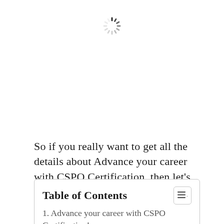[Figure (other): Loading spinner icon (circular dashed spinner graphic)]
So if you really want to get all the details about Advance your career with CSPO Certification, then let's start.
| Table of Contents |
| --- |
| 1. Advance your career with CSPO Certification! |
| 1.1. ... |
1. Advance your career with CSPO Certification!
1.1. ...